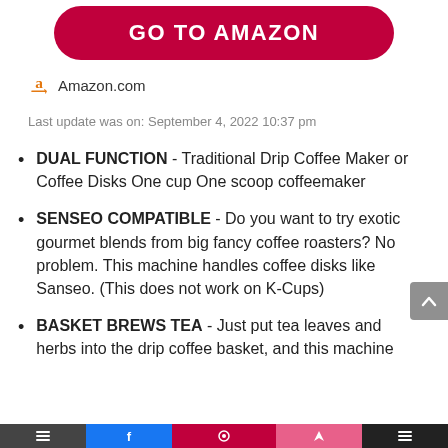[Figure (other): Red rounded button with white bold text 'GO TO AMAZON']
Amazon.com
Last update was on: September 4, 2022 10:37 pm
DUAL FUNCTION - Traditional Drip Coffee Maker or Coffee Disks One cup One scoop coffeemaker
SENSEO COMPATIBLE - Do you want to try exotic gourmet blends from big fancy coffee roasters? No problem. This machine handles coffee disks like Sanseo. (This does not work on K-Cups)
BASKET BREWS TEA - Just put tea leaves and herbs into the drip coffee basket, and this machine
Social share bar